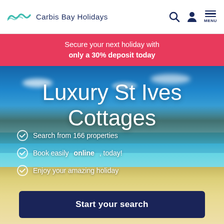Carbis Bay Holidays
Secure your next holiday with only a 30% deposit today
[Figure (photo): Aerial/wide view of St Ives bay, Cornwall, showing a sandy beach, turquoise sea, and coastal town buildings on the hillside under a blue sky with clouds]
Luxury St Ives Cottages
Search from 166 properties
Book easily online, today!
Enjoy your amazing holiday
Start your search